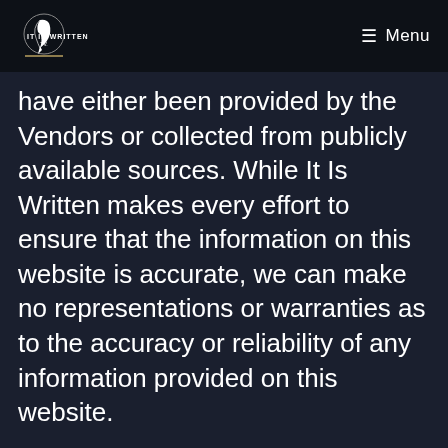It Is Written TV — Menu
have either been provided by the Vendors or collected from publicly available sources. While It Is Written makes every effort to ensure that the information on this website is accurate, we can make no representations or warranties as to the accuracy or reliability of any information provided on this website.
It Is Written makes no warranties or representations whatsoever with regard to any product provided or offered by any Vendor, and you acknowledge that any